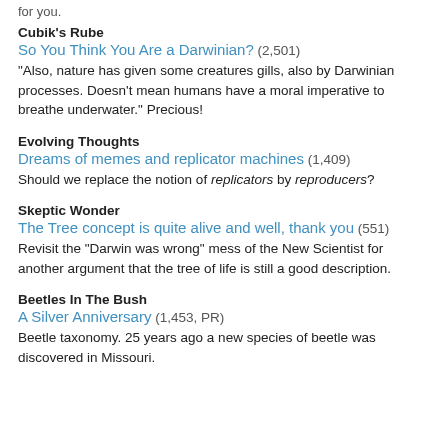for you.
Cubik's Rube
So You Think You Are a Darwinian? (2,501)
“Also, nature has given some creatures gills, also by Darwinian processes. Doesn’t mean humans have a moral imperative to breathe underwater.” Precious!
Evolving Thoughts
Dreams of memes and replicator machines (1,409)
Should we replace the notion of replicators by reproducers?
Skeptic Wonder
The Tree concept is quite alive and well, thank you (551)
Revisit the “Darwin was wrong” mess of the New Scientist for another argument that the tree of life is still a good description.
Beetles In The Bush
A Silver Anniversary (1,453, PR)
Beetle taxonomy. 25 years ago a new species of beetle was discovered in Missouri.